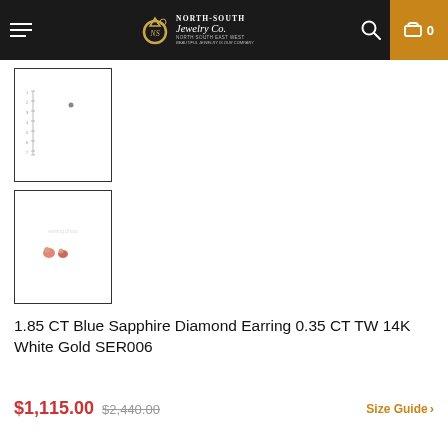North-South Jewelry Co. — Navigation header with logo, search, and cart
[Figure (photo): Thumbnail image 1: small earring on white background with scale ruler]
[Figure (photo): Thumbnail image 2: pair of small earrings on white background]
1.85 CT Blue Sapphire Diamond Earring 0.35 CT TW 14K White Gold SER006
$1,115.00 $2,440.00 Size Guide >